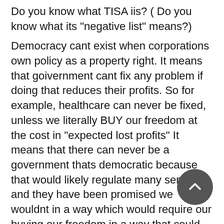Do you know what TISA iis? ( Do you know what its "negative list" means?)
Democracy cant exist when corporations own policy as a property right. It means that goivernment cant fix any problem if doing that reduces their profits. So for example, healthcare can never be fixed, unless we literally BUY our freedom at the cost in "expected lost profits" It means that there can never be a government thats democratic because that would likely regulate many services and they have been promised we wouldnt in a way which would require our buying our freedom in a way that could cost us millions of jobs. Or some other form of compensation, like opening up our services to competition, all roads lead there. If we lower our wages to third world levels we'll still be unable to win them because of the LDC Services Waiver. SO